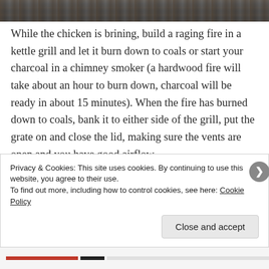[Figure (photo): Top portion of a food/recipe photo showing a grill or fire scene with dark colorful imagery]
While the chicken is brining, build a raging fire in a kettle grill and let it burn down to coals or start your charcoal in a chimney smoker (a hardwood fire will take about an hour to burn down, charcoal will be ready in about 15 minutes). When the fire has burned down to coals, bank it to either side of the grill, put the grate on and close the lid, making sure the vents are open and you have good airflow.
Privacy & Cookies: This site uses cookies. By continuing to use this website, you agree to their use.
To find out more, including how to control cookies, see here: Cookie Policy

Close and accept